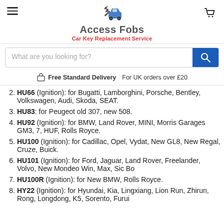Access Fobs — Car Key Replacement Service
Free Standard Delivery For UK orders over £20
2. HU66 (Ignition): for Bugatti, Lamborghini, Porsche, Bentley, Volkswagen, Audi, Skoda, SEAT.
3. HU83: for Peugeot old 307, new 508.
4. HU92 (Ignition): for BMW, Land Rover, MINI, Morris Garages GM3, 7, HUF, Rolls Royce.
5. HU100 (Ignition): for Cadillac, Opel, Vydat, New GL8, New Regal, Cruze, Buick.
6. HU101 (Ignition): for Ford, Jaguar, Land Rover, Freelander, Volvo, New Mondeo Win, Max, Sic Bo
7. HU100R (Ignition): for New BMW, Rolls Royce.
8. HY22 (Ignition): for Hyundai, Kia, Lingxiang, Lion Run, Zhirun, Rong, Longdong, K5, Sorento, Furui...